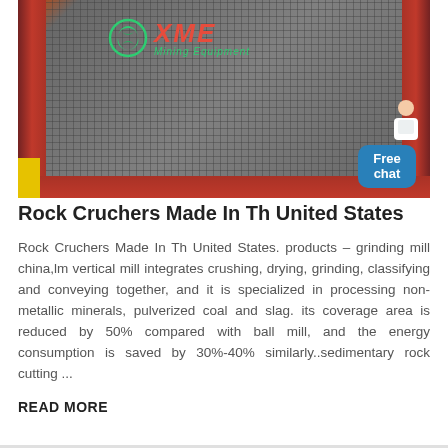[Figure (photo): A mining vibrating screen with metal mesh surface in a red/brown frame, with XME Mining Equipment logo overlay and a customer service chat widget in the bottom right corner]
Rock Cruchers Made In Th United States
Rock Cruchers Made In Th United States. products – grinding mill china,lm vertical mill integrates crushing, drying, grinding, classifying and conveying together, and it is specialized in processing non-metallic minerals, pulverized coal and slag. its coverage area is reduced by 50% compared with ball mill, and the energy consumption is saved by 30%-40% similarly..sedimentary rock cutting ...
READ MORE